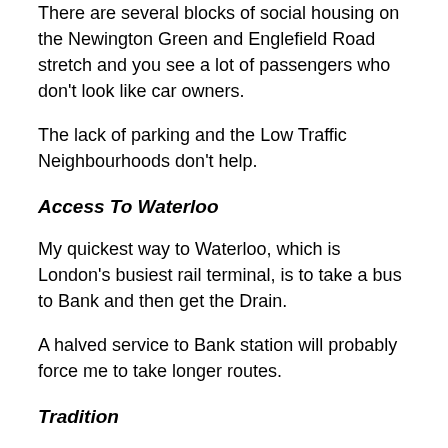There are several blocks of social housing on the Newington Green and Englefield Road stretch and you see a lot of passengers who don't look like car owners.
The lack of parking and the Low Traffic Neighbourhoods don't help.
Access To Waterloo
My quickest way to Waterloo, which is London's busiest rail terminal, is to take a bus to Bank and then get the Drain.
A halved service to Bank station will probably force me to take longer routes.
Tradition
When I was a child in the 1950s, the 141 was the 641